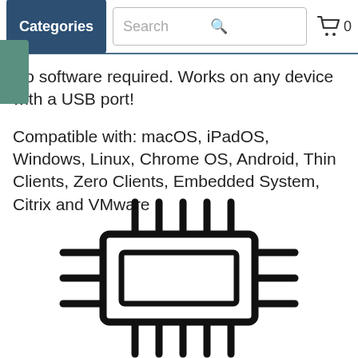Categories | Search | 0
No software required. Works on any device with a USB port!
Compatible with: macOS, iPadOS, Windows, Linux, Chrome OS, Android, Thin Clients, Zero Clients, Embedded System, Citrix and VMware
[Figure (illustration): IC chip / microchip icon — a square chip body with pins extending from all four sides, rendered in bold black outline style]